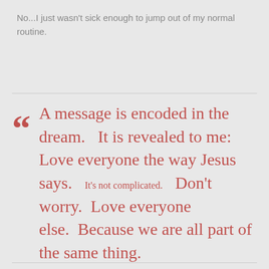No...I just wasn't sick enough to jump out of my normal routine.
A message is encoded in the dream.   It is revealed to me: Love everyone the way Jesus says.    It's not complicated.   Don't worry.   Love everyone else.   Because we are all part of the same thing.